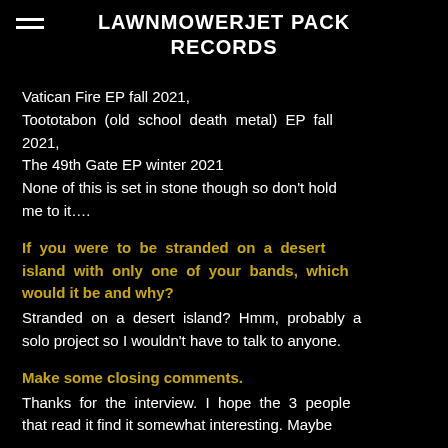LAWNMOWERJETPACK RECORDS
Vatican Fire EP fall 2021,
Toototabon (old school death metal) EP fall 2021,
The 49th Gate EP winter 2021
None of this is set in stone though so don't hold me to it….
If you were to be stranded on a desert island with only one of your bands, which would it be and why?
Stranded on a desert island? Hmm, probably a solo project so I wouldn't have to talk to anyone.
Make some closing comments.
Thanks for the interview. I hope the 3 people that read it find it somewhat interesting. Maybe